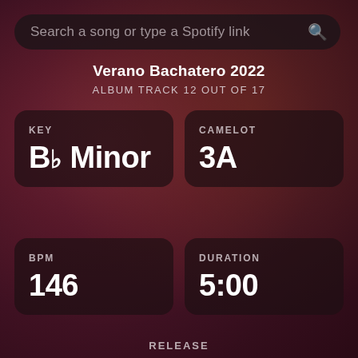Search a song or type a Spotify link
Verano Bachatero 2022
ALBUM TRACK 12 OUT OF 17
KEY
Bb Minor
CAMELOT
3A
BPM
146
DURATION
5:00
RELEASE